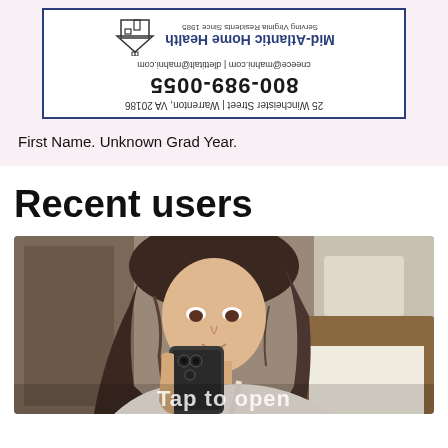[Figure (other): Advertisement for Mid-Atlantic Home Health, shown upside down and mirrored. Contains phone number 800-989-0055, email addresses, logo with house icon, and tagline 'Serving Virginia Residents Since 1985'.]
First Name. Unknown Grad Year.
Recent users
[Figure (photo): Photo of a young woman with brown/blonde wavy hair, looking down at a smartphone she is holding. She is wearing a white top and appears to be sitting on a bed. Partially visible text at the bottom reads 'Tap to open'.]